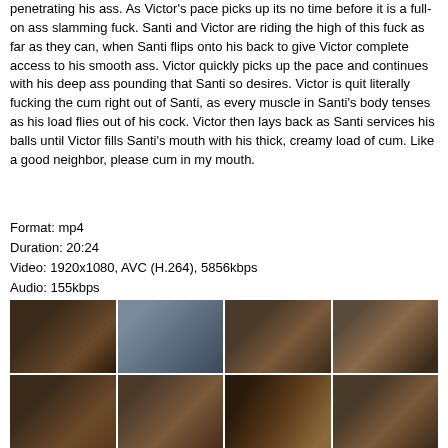penetrating his ass. As Victor's pace picks up its no time before it is a full-on ass slamming fuck. Santi and Victor are riding the high of this fuck as far as they can, when Santi flips onto his back to give Victor complete access to his smooth ass. Victor quickly picks up the pace and continues with his deep ass pounding that Santi so desires. Victor is quit literally fucking the cum right out of Santi, as every muscle in Santi's body tenses as his load flies out of his cock. Victor then lays back as Santi services his balls until Victor fills Santi's mouth with his thick, creamy load of cum. Like a good neighbor, please cum in my mouth.
Format: mp4
Duration: 20:24
Video: 1920x1080, AVC (H.264), 5856kbps
Audio: 155kbps
[Figure (photo): Grid of 16 video thumbnail screenshots arranged in 4 columns and 4 rows showing scenes from the video]